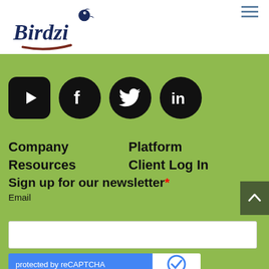[Figure (logo): Birdzi company logo in dark navy blue with a stylized bird and the word Birdzi]
[Figure (infographic): Four social media icons: YouTube (rounded rectangle), Facebook (circle), Twitter (circle), LinkedIn (circle), all in black]
Company
Platform
Resources
Client Log In
Sign up for our newsletter*
Email
protected by reCAPTCHA